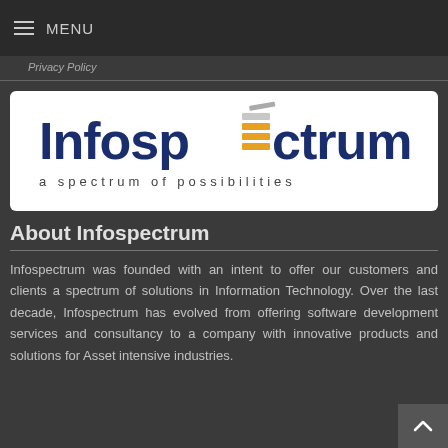≡ MENU
Privacy Policy
[Figure (logo): Infospectrum logo with tagline 'a spectrum of possibilities'. Features stylized colored bars in orange and grey forming a spectrum icon within the company name text.]
About Infospectrum
Infospectrum was founded with an intent to offer our customers and clients a spectrum of solutions in Information Technology. Over the last decade, Infospectrum has evolved from offering software development services and consultancy to a company with innovative products and solutions for Asset intensive industries.